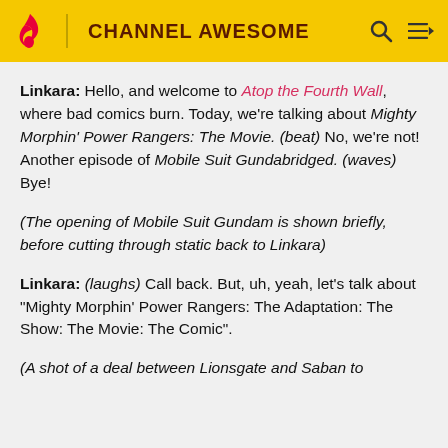CHANNEL AWESOME
Linkara: Hello, and welcome to Atop the Fourth Wall, where bad comics burn. Today, we're talking about Mighty Morphin' Power Rangers: The Movie. (beat) No, we're not! Another episode of Mobile Suit Gundabridged. (waves) Bye!
(The opening of Mobile Suit Gundam is shown briefly, before cutting through static back to Linkara)
Linkara: (laughs) Call back. But, uh, yeah, let's talk about "Mighty Morphin' Power Rangers: The Adaptation: The Show: The Movie: The Comic".
(A shot of a deal between Lionsgate and Saban to